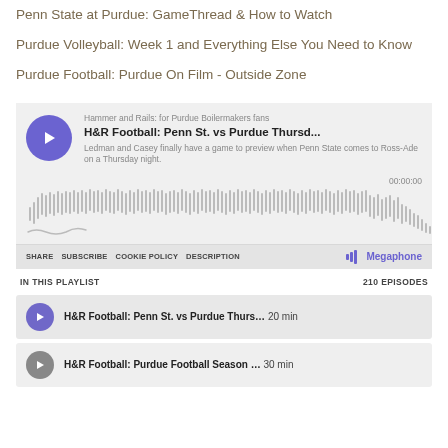Penn State at Purdue: GameThread & How to Watch
Purdue Volleyball: Week 1 and Everything Else You Need to Know
Purdue Football: Purdue On Film - Outside Zone
[Figure (screenshot): Podcast player widget for 'H&R Football: Penn St. vs Purdue Thursd...' from Hammer and Rails: for Purdue Boilermakers fans. Shows waveform, time 00:00:00, share/subscribe/cookie policy/description links, Megaphone branding, playlist with 210 episodes.]
H&R Football: Penn St. vs Purdue Thurs... 20 min
H&R Football: Purdue Football Season ... 30 min